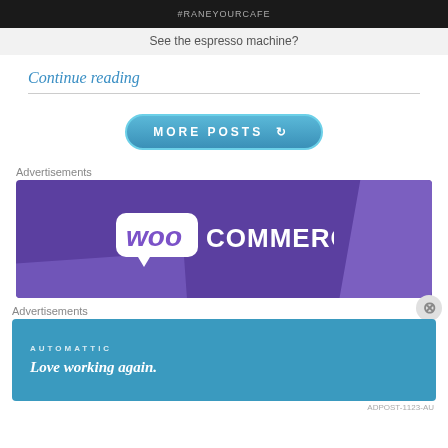[Figure (screenshot): Top dark bar representing top of image/photo from a cafe post, with small text visible]
See the espresso machine?
Continue reading
[Figure (screenshot): MORE POSTS button - blue rounded pill button with refresh icon]
Advertisements
[Figure (logo): WooCommerce advertisement banner - purple background with WooCommerce logo in white]
Advertisements
[Figure (screenshot): Automattic advertisement - blue background with AUTOMATTIC label and 'Love working again.' tagline in italic]
ADPOST-1123-AU